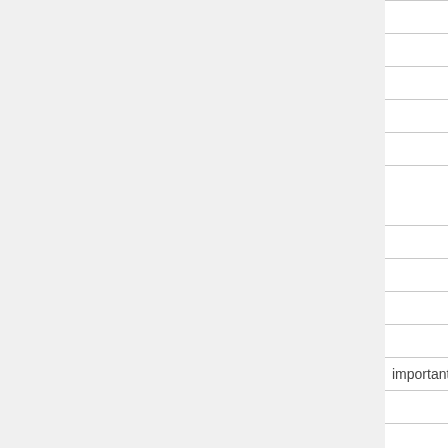| Module | Flag | Version |
| --- | --- | --- |
| v.net.visibility |  | common |
| v.normal |  | common |
| v.out.ascii |  | common |
| v.out.dxf |  | common |
| v.out.gpsbabel |  |  |
| v.out.ogr |  | 6.3/6.4/... x4 |
| v.out.pov |  | common |
| v.out.svg |  | common |
| v.out.vtk |  | common |
| v.outlier |  | common |
| v.overlay | important | common |
| v.parallel |  | common |
| v.patch |  | common |
| v.perturb |  | common |
| v.proj |  | common |